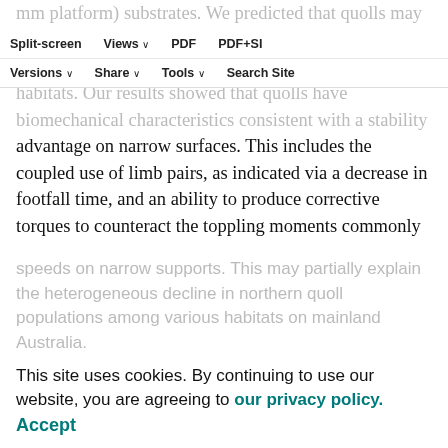Split-screen  Views  PDF  PDF+SI  Versions  Share  Tools  Search Site
mm platform) substrates. We predicted that quolls may possess biomechanical adaptations increasing stability on narrow surfaces, which are more common in rocky habitats. Our results showed that quolls have biomechanical characteristics consistent with a stability advantage on narrow surfaces. This includes the coupled use of limb pairs, as indicated via a decrease in footfall time, and an ability to produce corrective torques to counteract the toppling moments commonly encountered during gait on narrow surfaces. However, speed was constrained on narrow surfaces, and quolls did not adopt diagonal sequence gaits, unlike true arboreal specialists such as primates. In comparison with key predators, such as cats and dogs, northern quolls appear inferior in terrestrial environments but have a stability advantage at higher speeds on narrow supports. This may partially explain the heterogeneous decline in northern quoll populations among various habitats on mainland Australia.
This site uses cookies. By continuing to use our website, you are agreeing to our privacy policy. Accept